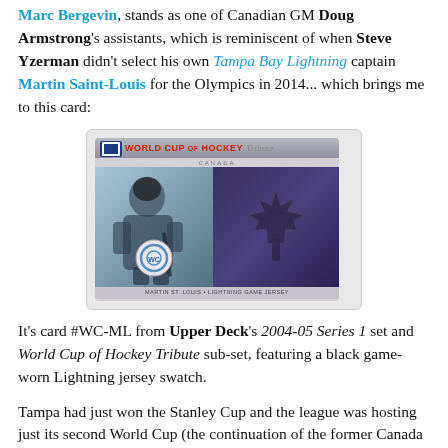Marc Bergevin, stands as one of Canadian GM Doug Armstrong's assistants, which is reminiscent of when Steve Yzerman didn't select his own Tampa Bay Lightning captain Martin Saint-Louis for the Olympics in 2014... which brings me to this card:
[Figure (photo): Upper Deck World Cup of Hockey Tribute Canada trading card featuring Martin St. Louis, with a black game-worn Lightning jersey swatch and a maple leaf design]
It's card #WC-ML from Upper Deck's 2004-05 Series 1 set and World Cup of Hockey Tribute sub-set, featuring a black game-worn Lightning jersey swatch.
Tampa had just won the Stanley Cup and the league was hosting just its second World Cup (the continuation of the former Canada Cup, whose name was stained by Alan Eagleson's legacy) as a cash-grab just before getting into a